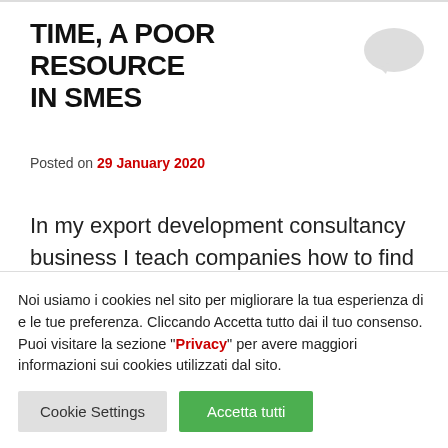TIME, A POOR RESOURCE IN SMES
Posted on 29 January 2020
In my export development consultancy business I teach companies how to find customers or distributors in new markets
Noi usiamo i cookies nel sito per migliorare la tua esperienza di e le tue preferenza. Cliccando Accetta tutto dai il tuo consenso. Puoi visitare la sezione "Privacy" per avere maggiori informazioni sui cookies utilizzati dal sito.
Cookie Settings | Accetta tutti